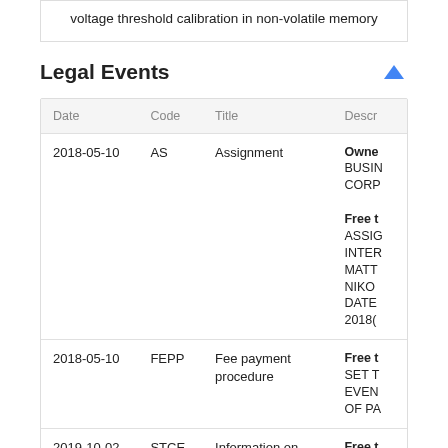voltage threshold calibration in non-volatile memory
Legal Events
| Date | Code | Title | Descr |
| --- | --- | --- | --- |
| 2018-05-10 | AS | Assignment | Owner
BUSIN
CORP

Free t
ASSIG
INTER
MATT
NIKO
DATE
2018( |
| 2018-05-10 | FEPP | Fee payment procedure | Free t
SET T
EVEN
OF PA |
| 2019-10-02 | STCE | Information on status: patent grant | Free t |